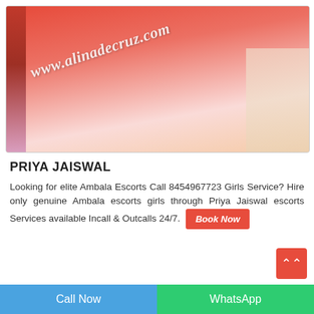[Figure (photo): Woman wearing a red lace dress, standing in a room. Watermark text 'www.alinadecruz.com' overlaid diagonally in white italic font.]
PRIYA JAISWAL
Looking for elite Ambala Escorts Call 8454967723 Girls Service? Hire only genuine Ambala escorts girls through Priya Jaiswal escorts Services available Incall & Outcalls 24/7.
Call Now | WhatsApp